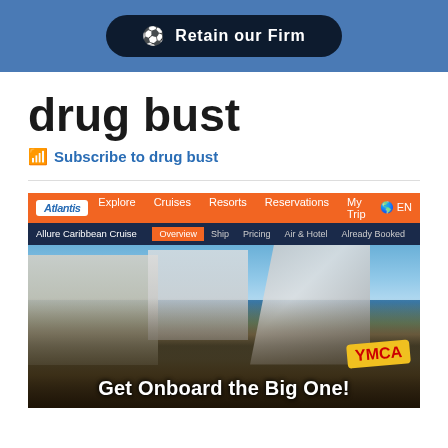⚽ Retain our Firm
drug bust
Subscribe to drug bust
[Figure (screenshot): Screenshot of Atlantis cruises website showing a navigation bar with Explore, Cruises, Resorts, Reservations, My Trip tabs in orange, a sub-navigation for Allure Caribbean Cruise with Overview, Ship, Pricing, Air & Hotel, Already Booked tabs, and a photo of a massive crowd on a cruise ship deck with the text 'Get Onboard the Big One!' and a YMCA yellow badge in the corner.]